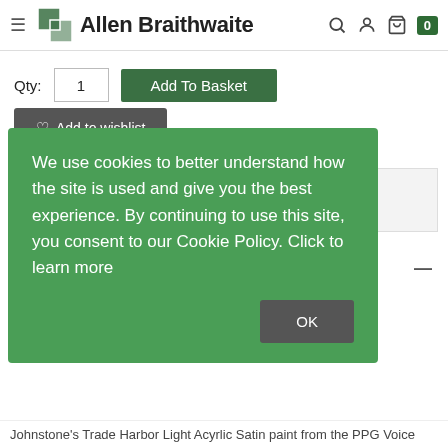[Figure (screenshot): Allen Braithwaite website header with logo, hamburger menu, search, user, cart icons and badge showing 0]
Qty: 1
Add To Basket
Add to wishlist
Delivery & Returns
rned
We use cookies to better understand how the site is used and give you the best experience. By continuing to use this site, you consent to our Cookie Policy. Click to learn more
OK
Johnstone's Trade Harbor Light Acyrlic Satin paint from the PPG Voice